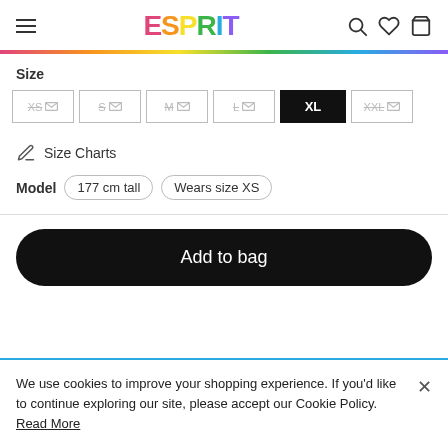ESPRIT
Size
XS S M L XL XXL — size selector with XL selected
Size Charts
Model  177 cm tall  Wears size XS
Add to bag
We use cookies to improve your shopping experience. If you'd like to continue exploring our site, please accept our Cookie Policy. Read More